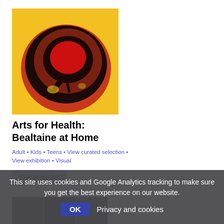[Figure (illustration): Abstract painting on yellow background featuring dark oval/egg shape with red center, black outlines, and textured brownish-red areas with small colored dots]
Arts for Health: Bealtaine at Home
Adult • Kids • Teens • View curated selection • View exhibition • Visual
Add to my list
[Figure (photo): Three small thumbnail images at bottom, grayscale/dark photographs]
This site uses cookies and Google Analytics tracking to make sure you get the best experience on our website.
OK   Privacy and cookies